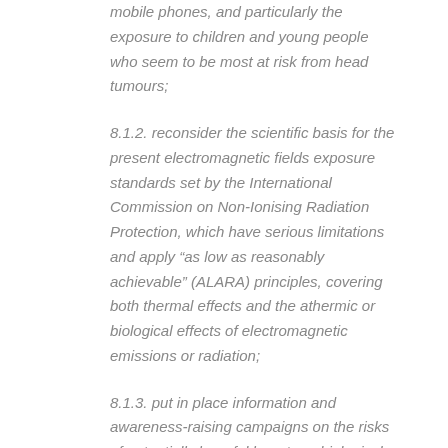mobile phones, and particularly the exposure to children and young people who seem to be most at risk from head tumours;
8.1.2. reconsider the scientific basis for the present electromagnetic fields exposure standards set by the International Commission on Non-Ionising Radiation Protection, which have serious limitations and apply “as low as reasonably achievable” (ALARA) principles, covering both thermal effects and the athermic or biological effects of electromagnetic emissions or radiation;
8.1.3. put in place information and awareness-raising campaigns on the risks of potentially harmful long-term biological effects on the environment and on human health, especially targeting children, teenagers and young people of reproductive age;
8.1.4. pay particular attention to “electrosensitive” persons